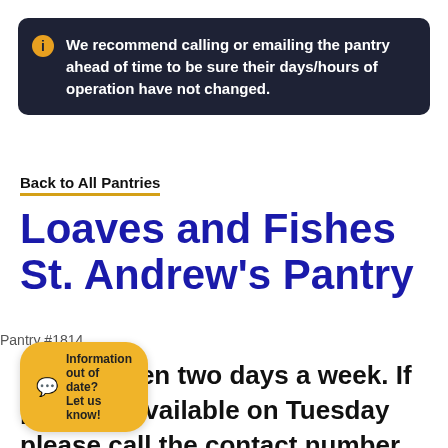We recommend calling or emailing the pantry ahead of time to be sure their days/hours of operation have not changed.
Back to All Pantries
Loaves and Fishes St. Andrew's Pantry
Pantry #1814
Pantry open two days a week. If produce available on Tuesday please call the contact number to see if someone is available for pick up. Just rch to the back bulding and knock on a door. We serve around
Information out of date? Let us know!